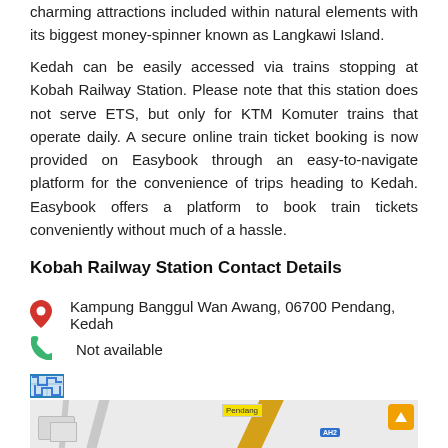charming attractions included within natural elements with its biggest money-spinner known as Langkawi Island.
Kedah can be easily accessed via trains stopping at Kobah Railway Station. Please note that this station does not serve ETS, but only for KTM Komuter trains that operate daily. A secure online train ticket booking is now provided on Easybook through an easy-to-navigate platform for the convenience of trips heading to Kedah. Easybook offers a platform to book train tickets conveniently without much of a hassle.
Kobah Railway Station Contact Details
Kampung Banggul Wan Awang, 06700 Pendang, Kedah
Not available
[Figure (map): Map showing area near Pendang with road AH2 and a yellow diagonal road. An orange up-arrow button appears in the top right corner of the map.]